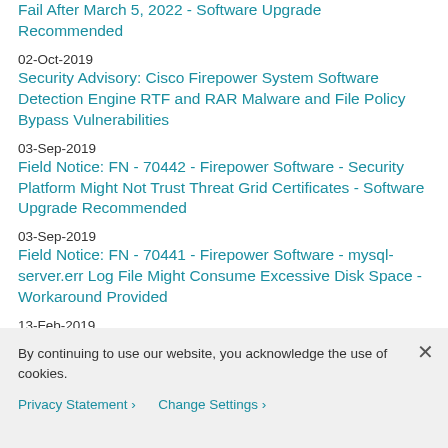Fail After March 5, 2022 - Software Upgrade Recommended
02-Oct-2019
Security Advisory: Cisco Firepower System Software Detection Engine RTF and RAR Malware and File Policy Bypass Vulnerabilities
03-Sep-2019
Field Notice: FN - 70442 - Firepower Software - Security Platform Might Not Trust Threat Grid Certificates - Software Upgrade Recommended
03-Sep-2019
Field Notice: FN - 70441 - Firepower Software - mysql-server.err Log File Might Consume Excessive Disk Space - Workaround Provided
13-Feb-2019
By continuing to use our website, you acknowledge the use of cookies.
Privacy Statement › Change Settings ›